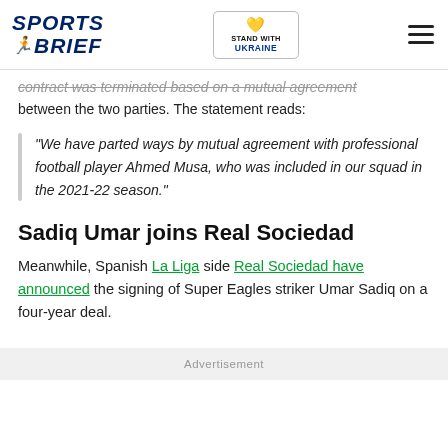[Figure (logo): Sports Brief logo with blue italic text and green icon, alongside Ukraine Stand With Ukraine badge and hamburger menu icon]
contract was terminated based on a mutual agreement between the two parties. The statement reads:
“We have parted ways by mutual agreement with professional football player Ahmed Musa, who was included in our squad in the 2021-22 season.”
Sadiq Umar joins Real Sociedad
Meanwhile, Spanish La Liga side Real Sociedad have announced the signing of Super Eagles striker Umar Sadiq on a four-year deal.
Advertisement